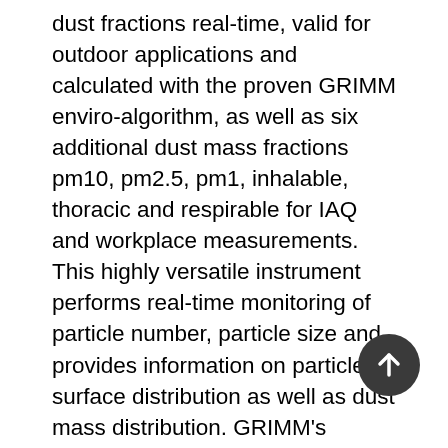dust fractions real-time, valid for outdoor applications and calculated with the proven GRIMM enviro-algorithm, as well as six additional dust mass fractions pm10, pm2.5, pm1, inhalable, thoracic and respirable for IAQ and workplace measurements. This highly versatile instrument performs real-time monitoring of particle number, particle size and provides information on particle surface distribution as well as dust mass distribution. GRIMM's EDM264 has 31 equidistant size channels, which are PSL traceable. A high-end data logger enables data acquisition and wireless communication via LTE, WLAN, or wired via Ethernet. Backup copies of the measurement data are stored in the device directly. The rinsing air function, which protects the laser and detector in the optical cell, further increases the reliability and long term stability of the EDM264 under different environmental and climatic conditions. The continuous...